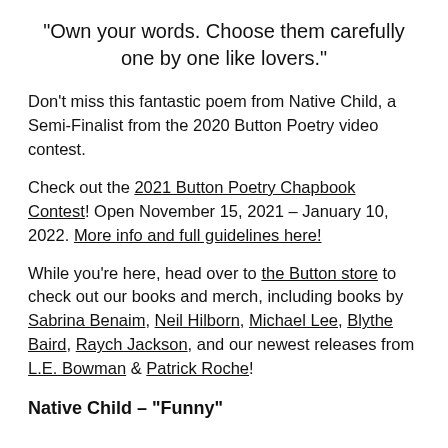“Own your words. Choose them carefully one by one like lovers.”
Don’t miss this fantastic poem from Native Child, a Semi-Finalist from the 2020 Button Poetry video contest.
Check out the 2021 Button Poetry Chapbook Contest! Open November 15, 2021 – January 10, 2022. More info and full guidelines here!
While you’re here, head over to the Button store to check out our books and merch, including books by Sabrina Benaim, Neil Hilborn, Michael Lee, Blythe Baird, Raych Jackson, and our newest releases from L.E. Bowman & Patrick Roche!
Native Child – “Funny”